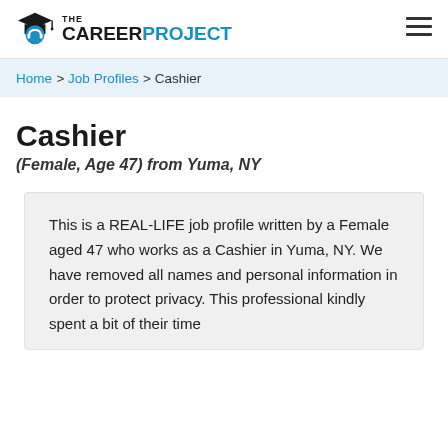THE CAREER PROJECT
Home > Job Profiles > Cashier
Cashier
(Female, Age 47) from Yuma, NY
This is a REAL-LIFE job profile written by a Female aged 47 who works as a Cashier in Yuma, NY. We have removed all names and personal information in order to protect privacy. This professional kindly spent a bit of their time